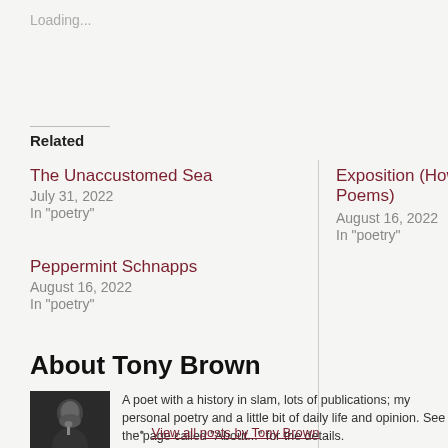Loading...
Related
The Unaccustomed Sea
July 31, 2022
In "poetry"
Exposition (How To Read Poems)
August 16, 2022
In "poetry"
Peppermint Schnapps
August 16, 2022
In "poetry"
About Tony Brown
A poet with a history in slam, lots of publications; my personal poetry and a little bit of daily life and opinion. See the page called "About..." for the details.
View all posts by Tony Brown